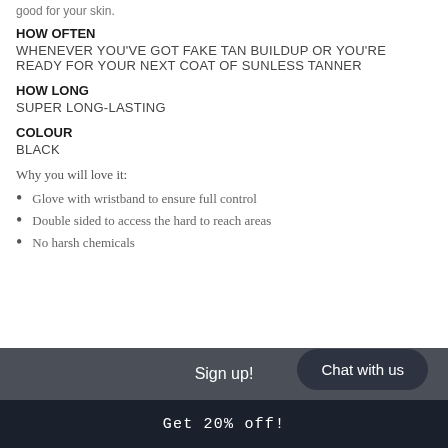good for your skin.
HOW OFTEN
WHENEVER YOU'VE GOT FAKE TAN BUILDUP OR YOU'RE READY FOR YOUR NEXT COAT OF SUNLESS TANNER
HOW LONG
SUPER LONG-LASTING
COLOUR
BLACK
Why you will love it:
Glove with wristband to ensure full control
Double sided to access the hard to reach areas
No harsh chemicals
Sign up!
Chat with us
Get 20% off!